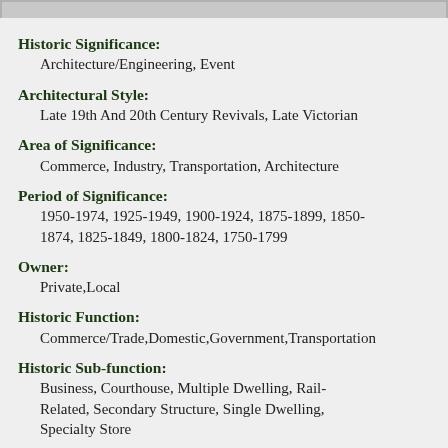Historic Significance: Architecture/Engineering, Event
Architectural Style: Late 19th And 20th Century Revivals, Late Victorian
Area of Significance: Commerce, Industry, Transportation, Architecture
Period of Significance: 1950-1974, 1925-1949, 1900-1924, 1875-1899, 1850-1874, 1825-1849, 1800-1824, 1750-1799
Owner: Private,Local
Historic Function: Commerce/Trade,Domestic,Government,Transportation
Historic Sub-function: Business, Courthouse, Multiple Dwelling, Rail-Related, Secondary Structure, Single Dwelling, Specialty Store